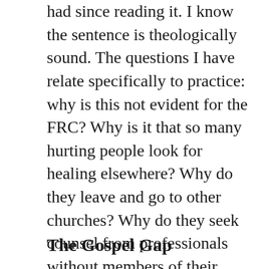had since reading it. I know the sentence is theologically sound. The questions I have relate specifically to practice: why is this not evident for the FRC? Why is it that so many hurting people look for healing elsewhere? Why do they leave and go to other churches? Why do they seek counsel from professionals without members of their church knowing? If we believe that the church is the best place to find refuge, why are there so many hurting people in our community unable to find shelter and escape from the brokenness of their lives?
The Gospel Gap